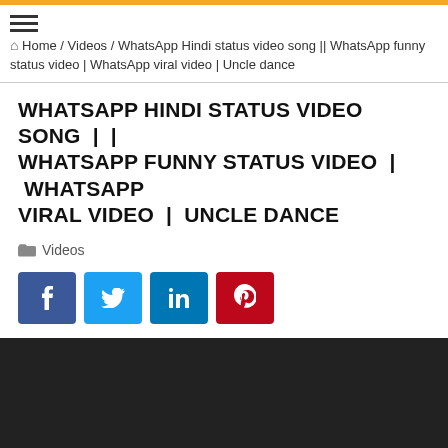≡ Home / Videos / WhatsApp Hindi status video song || WhatsApp funny status video | WhatsApp viral video | Uncle dance
WHATSAPP HINDI STATUS VIDEO SONG | | WHATSAPP FUNNY STATUS VIDEO | WHATSAPP VIRAL VIDEO | UNCLE DANCE
Videos
[Figure (screenshot): Social share buttons: Facebook (blue), Twitter (light blue), LinkedIn (blue), Pinterest (red)]
[Figure (screenshot): Embedded video player showing 'Video unavailable / This video is unavailable' message on dark background. Orange back-to-top button in bottom-right corner.]